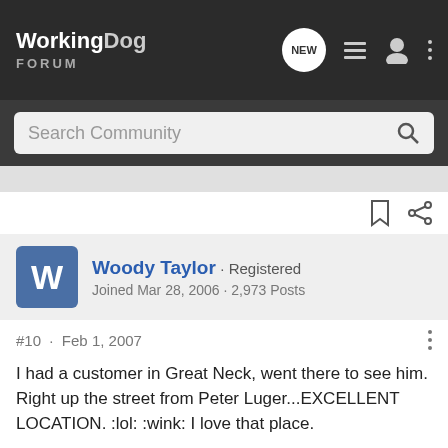WorkingDog FORUM
Search Community
Woody Taylor · Registered
Joined Mar 28, 2006 · 2,973 Posts
#10 · Feb 1, 2007
I had a customer in Great Neck, went there to see him. Right up the street from Peter Luger...EXCELLENT LOCATION. :lol: :wink: I love that place.
Here is what I learned on Christmas break. Work or no work, I really enjoy drinking in the morning.